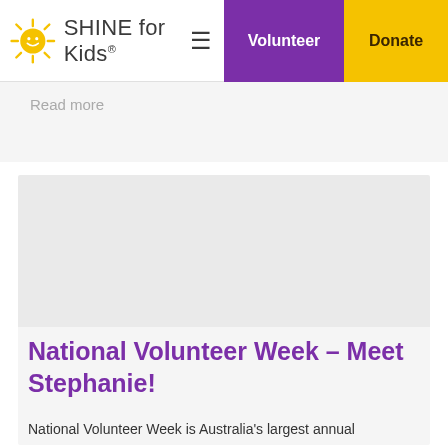SHINE for Kids — Volunteer | Donate
Read more
[Figure (photo): Card image placeholder area, light grey background]
National Volunteer Week – Meet Stephanie!
National Volunteer Week is Australia's largest annual